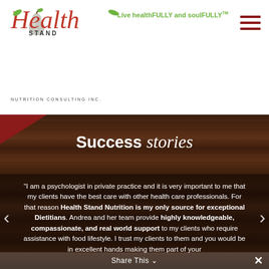[Figure (logo): Health Stand Nutrition Consulting Inc. logo with red script text and pear illustration]
Live healthFULLY and soulFULLY™
Success stories
"I am a psychologist in private practice and it is very important to me that my clients have the best care with other health care professionals. For that reason Health Stand Nutrition is my only source for exceptional Dietitians. Andrea and her team provide highly knowledgeable, compassionate, and real world support to my clients who require assistance with food lifestyle. I trust my clients to them and you would be in excellent hands making them part of your
Share This